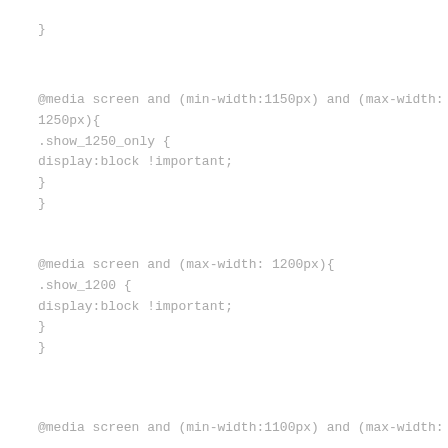}
@media screen and (min-width:1150px) and (max-width:
1250px){
.show_1250_only {
display:block !important;
}
}
@media screen and (max-width: 1200px){
.show_1200 {
display:block !important;
}
}
@media screen and (min-width:1100px) and (max-width: